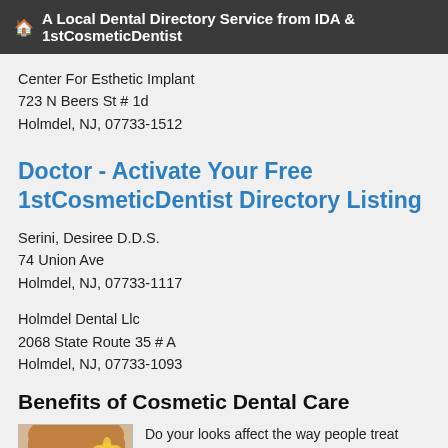A Local Dental Directory Service from IDA & 1stCosmeticDentist
Center For Esthetic Implant
723 N Beers St # 1d
Holmdel, NJ, 07733-1512
Doctor - Activate Your Free 1stCosmeticDentist Directory Listing
Serini, Desiree D.D.S.
74 Union Ave
Holmdel, NJ, 07733-1117
Holmdel Dental Llc
2068 State Route 35 # A
Holmdel, NJ, 07733-1093
Benefits of Cosmetic Dental Care
[Figure (photo): Woman with flower, smiling, cosmetic dental care illustration]
Do your looks affect the way people treat you? Positive self-esteem - how we feel about ourselves - is very important to a healthy